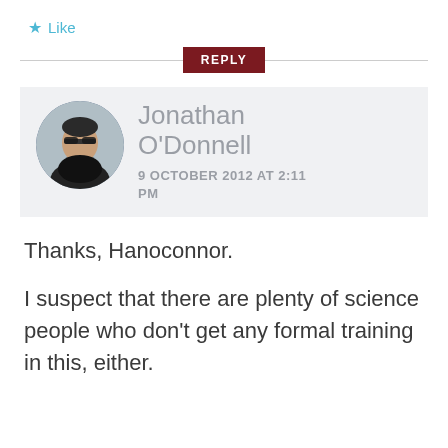★ Like
REPLY
[Figure (photo): Round avatar photo of Jonathan O'Donnell, a man wearing dark clothing and glasses]
Jonathan O'Donnell
9 OCTOBER 2012 AT 2:11 PM
Thanks, Hanoconnor.
I suspect that there are plenty of science people who don't get any formal training in this, either.